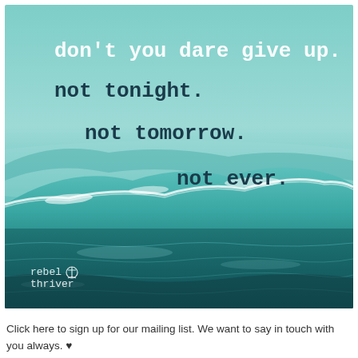[Figure (photo): Ocean wave photo with motivational quote text overlay. Teal/turquoise ocean wave fills the image. Sky is light teal at top. Quote text reads: don't you dare give up. / not tonight. / not tomorrow. / not ever. Brand logo 'rebel thriver' with anchor icon in bottom left.]
Click here to sign up for our mailing list. We want to say in touch with you always. ♥